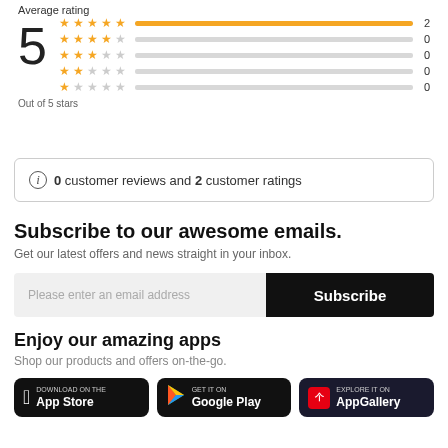Average rating
5
Out of 5 stars
2
0
0
0
0
0 customer reviews and 2 customer ratings
Subscribe to our awesome emails.
Get our latest offers and news straight in your inbox.
Please enter an email address
Subscribe
Enjoy our amazing apps
Shop our products and offers on-the-go.
[Figure (infographic): Three app store badges: Download on the App Store, Get it on Google Play, Explore it on AppGallery]